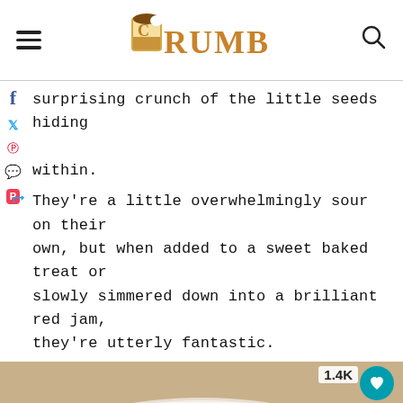CRUMB
surprising crunch of the little seeds hiding within.
They're a little overwhelmingly sour on their own, but when added to a sweet baked treat or slowly simmered down into a brilliant red jam, they're utterly fantastic.
[Figure (photo): Photo of a baked dessert with red cranberries/cherries on a plate, on a burlap surface. Share button and 1.4K count visible.]
[Figure (screenshot): Advertisement banner: King Bed For A Queen Price Now - Mattress Firm Potomac Run Plaza]